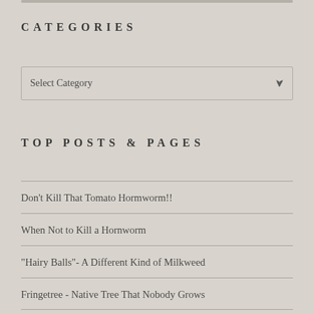CATEGORIES
Select Category
TOP POSTS & PAGES
Don't Kill That Tomato Hormworm!!
When Not to Kill a Hornworm
"Hairy Balls"- A Different Kind of Milkweed
Fringetree - Native Tree That Nobody Grows
Plant Oddity - Pumpkin On A Stick